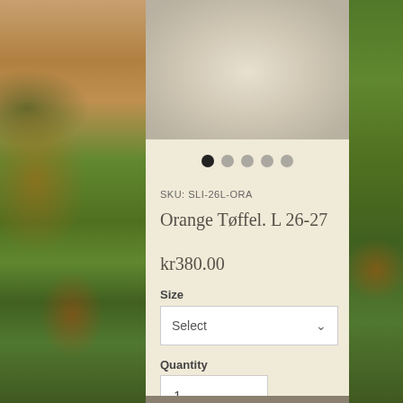[Figure (photo): Product photo of Orange Tøffel (slipper) with white/cream fluffy material and orange accent at top, shown clipped at the upper portion]
● ● ● ● ●
SKU: SLI-26L-ORA
Orange Tøffel. L 26-27
kr380.00
Size
Select
Quantity
1